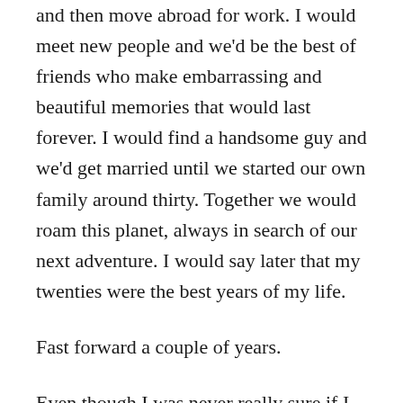and then move abroad for work. I would meet new people and we'd be the best of friends who make embarrassing and beautiful memories that would last forever. I would find a handsome guy and we'd get married until we started our own family around thirty. Together we would roam this planet, always in search of our next adventure. I would say later that my twenties were the best years of my life.
Fast forward a couple of years.
Even though I was never really sure if I wanted to be a teacher, I discovered that I enjoy teaching very much and I might stay a while. So I still live in Germany, have become a full-fledged teacher and just moved into my first ‘grown-up’ apartment. I own a dishwasher and seem to be really settled.